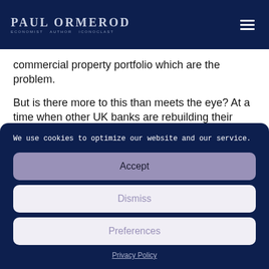Paul Ormerod — Economist Author Iconoclast
commercial property portfolio which are the problem.
But is there more to this than meets the eye? At a time when other UK banks are rebuilding their balance
We use cookies to optimize our website and our service.
Accept
Dismiss
Preferences
Privacy Policy